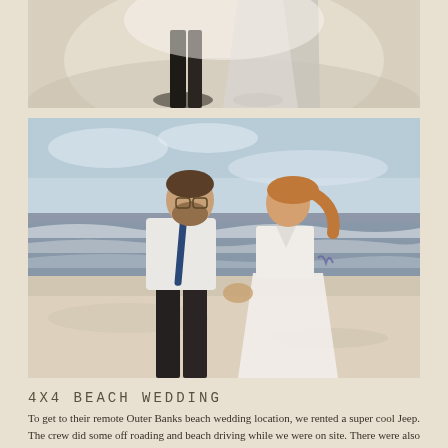[Figure (photo): Partial view of a couple (legs and lower bodies) walking on a beach, shot from above or mid-distance, with strong sunlight and shadows on sand]
[Figure (photo): A couple walking hand-in-hand on a beach near the water. The groom wears a white shirt with dark suspenders and dark pants; the bride wears a white dress. Ocean waves visible in background.]
4X4 BEACH WEDDING
To get to their remote Outer Banks beach wedding location, we rented a super cool Jeep. The crew did some off roading and beach driving while we were on site. There were also some of